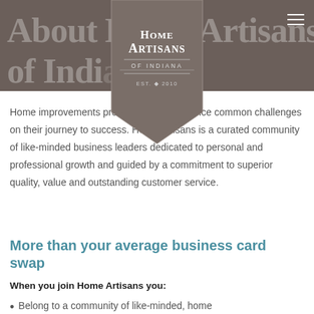[Figure (logo): Home Artisans of Indiana logo badge — shield/pennant shape in taupe/brown with text 'HOME ARTISANS OF INDIANA EST. 2010']
About Home Artisans of Indiana
Home improvements professionals experience common challenges on their journey to success. Home Artisans is a curated community of like-minded business leaders dedicated to personal and professional growth and guided by a commitment to superior quality, value and outstanding customer service.
More than your average business card swap
When you join Home Artisans you:
Belong to a community of like-minded, home